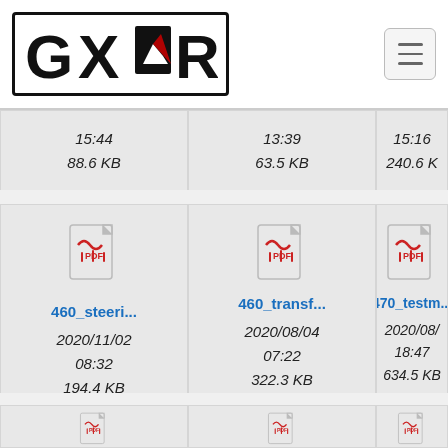[Figure (logo): GXOR logo with mountain symbol inside a bordered box]
15:44
88.6 KB
13:39
63.5 KB
15:16
240.6 KB
[Figure (screenshot): PDF file icon]
460_steeri...
2020/11/02
08:32
194.4 KB
[Figure (screenshot): PDF file icon]
460_transf...
2020/08/04
07:22
322.3 KB
[Figure (screenshot): PDF file icon]
470_testm...
2020/08/...
18:47
634.5 KB
[Figure (screenshot): PDF file icon (bottom row, partially visible)]
[Figure (screenshot): PDF file icon (bottom row, partially visible)]
[Figure (screenshot): PDF file icon (bottom row, partially visible)]